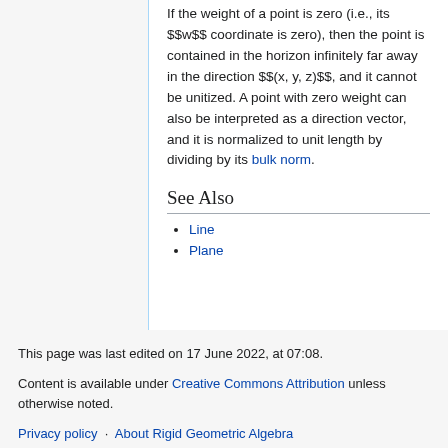If the weight of a point is zero (i.e., its $$w$$ coordinate is zero), then the point is contained in the horizon infinitely far away in the direction $$(x, y, z)$$, and it cannot be unitized. A point with zero weight can also be interpreted as a direction vector, and it is normalized to unit length by dividing by its bulk norm.
See Also
Line
Plane
This page was last edited on 17 June 2022, at 07:08.
Content is available under Creative Commons Attribution unless otherwise noted.
Privacy policy   About Rigid Geometric Algebra